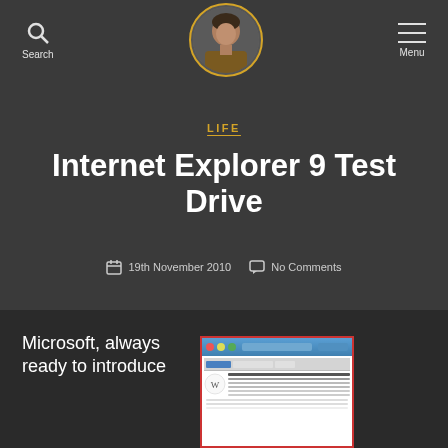[Figure (photo): Blog header with navigation: search icon on left, circular avatar photo in center with gold border, hamburger menu icon on right. Dark grey background.]
LIFE
Internet Explorer 9 Test Drive
19th November 2010   No Comments
Microsoft, always ready to introduce
[Figure (screenshot): Screenshot of Internet Explorer 9 browser showing Wikipedia website]